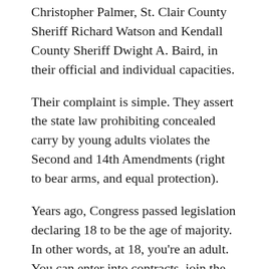Christopher Palmer, St. Clair County Sheriff Richard Watson and Kendall County Sheriff Dwight A. Baird, in their official and individual capacities.
Their complaint is simple. They assert the state law prohibiting concealed carry by young adults violates the Second and 14th Amendments (right to bear arms, and equal protection).
Years ago, Congress passed legislation declaring 18 to be the age of majority. In other words, at 18, you're an adult. You can enter into contracts, join the military, get married, start a business, and most important of all, vote in national elections. To correct Illinois's law, ...